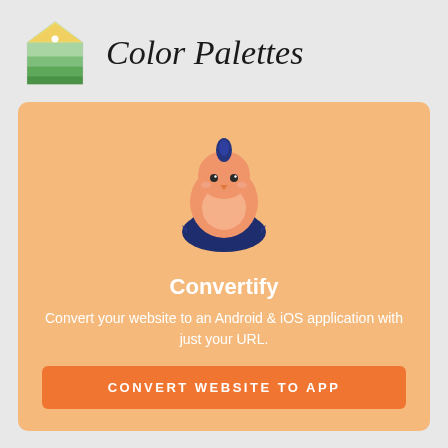[Figure (logo): Color Palettes app logo: a house/tag shaped icon with green color bands and a white diamond, next to the text 'Color Palettes' in italic script font]
[Figure (illustration): Cartoon chick hatching from a dark blue egg shell, with orange/peach body, blue topknot, and small eyes, set on a peach/orange background card]
Convertify
Convert your website to an Android & iOS application with just your URL.
CONVERT WEBSITE TO APP
Color Palettes